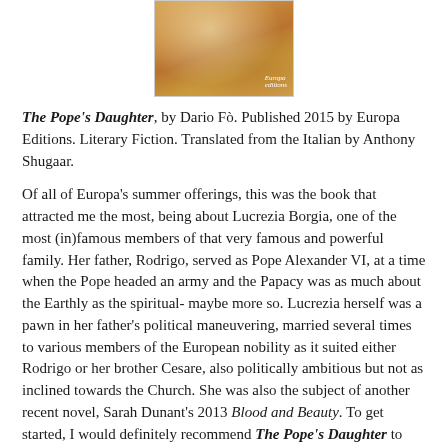[Figure (photo): Book cover of The Pope's Daughter, showing a golden/orange decorative image, published by Europa Editions]
The Pope's Daughter, by Dario Fò. Published 2015 by Europa Editions. Literary Fiction. Translated from the Italian by Anthony Shugaar.
Of all of Europa's summer offerings, this was the book that attracted me the most, being about Lucrezia Borgia, one of the most (in)famous members of that very famous and powerful family. Her father, Rodrigo, served as Pope Alexander VI, at a time when the Pope headed an army and the Papacy was as much about the Earthly as the spiritual- maybe more so. Lucrezia herself was a pawn in her father's political maneuvering, married several times to various members of the European nobility as it suited either Rodrigo or her brother Cesare, also politically ambitious but not as inclined towards the Church. She was also the subject of another recent novel, Sarah Dunant's 2013 Blood and Beauty. To get started, I would definitely recommend The Pope's Daughter to Dunant's readers.